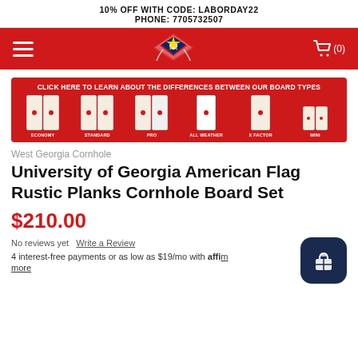10% OFF WITH CODE: LABORDAY22
PHONE: 7705732507
[Figure (screenshot): Navigation bar with hamburger menu, logo (star with wings), and shopping cart icon showing (0)]
[Figure (infographic): Red banner showing cornhole board types: ECONOMY, STANDARD, PRO, ALL WEATHER, X FACTOR, MINI with text CLICK HERE TO LEARN ABOUT THE DIFFERENCES BETWEEN OUR BOARD TYPES]
West Georgia Cornhole
University of Georgia American Flag Rustic Planks Cornhole Board Set
$210.00
No reviews yet  Write a Review
4 interest-free payments or as low as $19/mo with affirm. Learn more